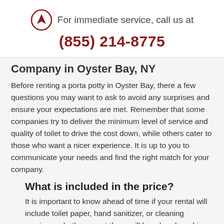For immediate service, call us at (855) 214-8775
Company in Oyster Bay, NY
Before renting a porta potty in Oyster Bay, there a few questions you may want to ask to avoid any surprises and ensure your expectations are met. Remember that some companies try to deliver the minimum level of service and quality of toilet to drive the cost down, while others cater to those who want a nicer experience. It is up to you to communicate your needs and find the right match for your company.
What is included in the price?
It is important to know ahead of time if your rental will include toilet paper, hand sanitizer, or cleaning services, whether or not there will be a hand washing station, and what the delivery and service